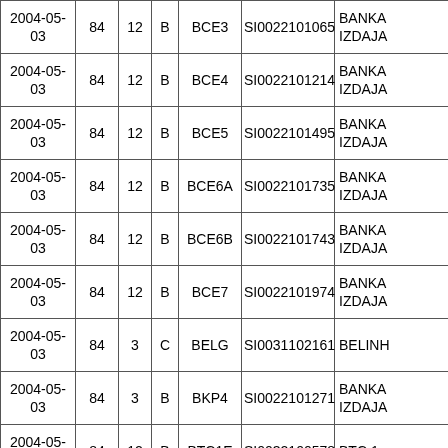| 2004-05-03 | 84 | 12 | B | BCE3 | SI0022101065 | BANKA IZDAJA |
| 2004-05-03 | 84 | 12 | B | BCE4 | SI0022101214 | BANKA IZDAJA |
| 2004-05-03 | 84 | 12 | B | BCE5 | SI0022101495 | BANKA IZDAJA |
| 2004-05-03 | 84 | 12 | B | BCE6A | SI0022101735 | BANKA IZDAJA |
| 2004-05-03 | 84 | 12 | B | BCE6B | SI0022101743 | BANKA IZDAJA |
| 2004-05-03 | 84 | 12 | B | BCE7 | SI0022101974 | BANKA IZDAJA |
| 2004-05-03 | 84 | 3 | C | BELG | SI0031102161 | BELINH |
| 2004-05-03 | 84 | 3 | B | BKP4 | SI0022101271 | BANKA IZDAJA |
| 2004-05-03 | 84 | 12 | B | BTC1E | SI0032100578 | BTC 1. |
| 2004-05-03 | 84 | 12 | B | BTC2 | SI0032101527 | BTC 2. |